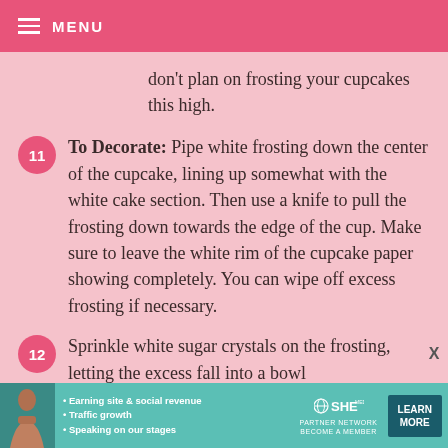MENU
don't plan on frosting your cupcakes this high.
To Decorate: Pipe white frosting down the center of the cupcake, lining up somewhat with the white cake section. Then use a knife to pull the frosting down towards the edge of the cup. Make sure to leave the white rim of the cupcake paper showing completely. You can wipe off excess frosting if necessary.
Sprinkle white sugar crystals on the frosting, letting the excess fall into a bowl
[Figure (advertisement): SHE Partner Network ad banner with woman photo, bullet points about earning site & social revenue, traffic growth, speaking on our stages, SHE logo, and Learn More button]